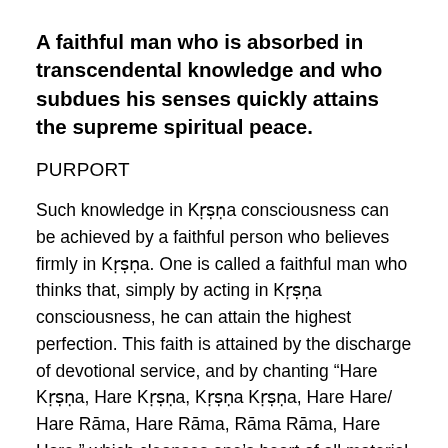A faithful man who is absorbed in transcendental knowledge and who subdues his senses quickly attains the supreme spiritual peace.
PURPORT
Such knowledge in Kṛṣṇa consciousness can be achieved by a faithful person who believes firmly in Kṛṣṇa. One is called a faithful man who thinks that, simply by acting in Kṛṣṇa consciousness, he can attain the highest perfection. This faith is attained by the discharge of devotional service, and by chanting “Hare Kṛṣṇa, Hare Kṛṣṇa, Kṛṣṇa Kṛṣṇa, Hare Hare/ Hare Rāma, Hare Rāma, Rāma Rāma, Hare Hare,” which cleanses one’s heart of all material dirt. Over and above this, one should control the senses. A person who is faithful to Kṛṣṇa and who controls the senses can easily attain perfection in the